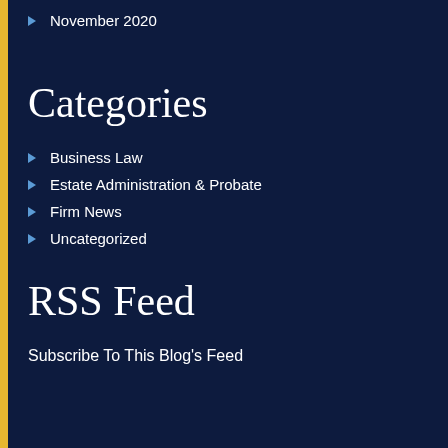November 2020
Categories
Business Law
Estate Administration & Probate
Firm News
Uncategorized
RSS Feed
Subscribe To This Blog's Feed